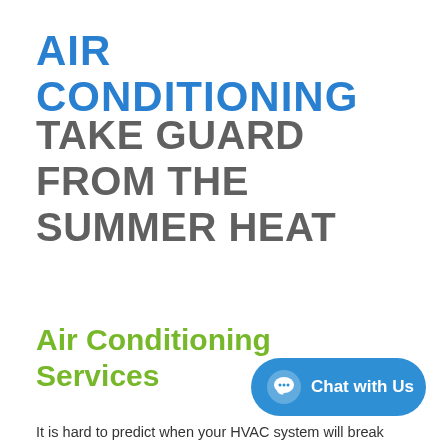AIR CONDITIONING
TAKE GUARD FROM THE SUMMER HEAT
Air Conditioning Services
It is hard to predict when your HVAC system will break